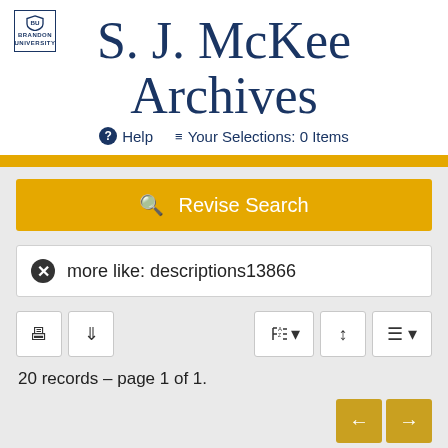[Figure (logo): Brandon University logo — shield icon with text BRANDON UNIVERSITY]
S. J. McKee Archives
Help   Your Selections: 0 Items
Revise Search
more like: descriptions13866
20 records – page 1 of 1.